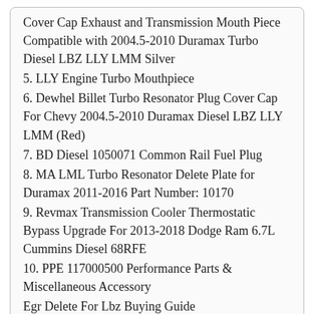Cover Cap Exhaust and Transmission Mouth Piece Compatible with 2004.5-2010 Duramax Turbo Diesel LBZ LLY LMM Silver
5. LLY Engine Turbo Mouthpiece
6. Dewhel Billet Turbo Resonator Plug Cover Cap For Chevy 2004.5-2010 Duramax Diesel LBZ LLY LMM (Red)
7. BD Diesel 1050071 Common Rail Fuel Plug
8. MA LML Turbo Resonator Delete Plate for Duramax 2011-2016 Part Number: 10170
9. Revmax Transmission Cooler Thermostatic Bypass Upgrade For 2013-2018 Dodge Ram 6.7L Cummins Diesel 68RFE
10. PPE 117000500 Performance Parts & Miscellaneous Accessory
Egr Delete For Lbz Buying Guide
We found 63558 reviews when researching. We have considered users feedback on the Egr Delete For